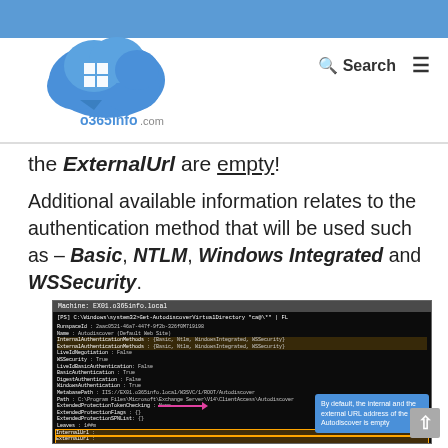[Figure (logo): o365info.com cloud logo with blue cloud icon and Microsoft Windows grid icon inside]
the ExternalUrl are empty!
Additional available information relates to the authentication method that will be used such as – Basic, NTLM, Windows Integrated and WSSecurity.
[Figure (screenshot): PowerShell/command prompt window showing Get-AutodiscoverVirtualDirectory output with fields including InternalAuthenticationMethods, ExternalAuthenticationMethods (Basic, Ntlm, WindowsIntegrated, WSSecurity), WSSecurity*Authentication values, MetabasePath, Path, ExtendedProtection* fields, Leaves, InternalUrl (highlighted empty), ExternalUrl (highlighted empty), AdminDisplayName. A tooltip callout reads: By default, the internal and the external URL address of the Autodiscover is empty. Orange highlight box around InternalUrl and ExternalUrl rows with pink arrow pointing to tooltip.]